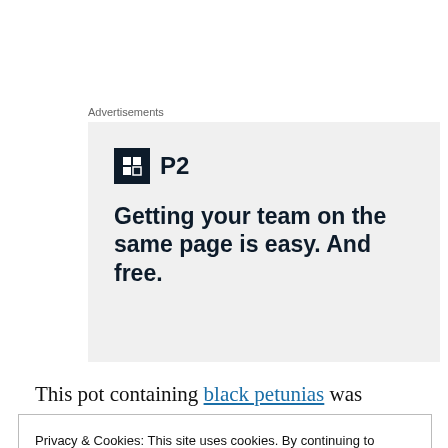Advertisements
[Figure (screenshot): Advertisement for P2 product showing logo (dark square with H icon and 'P2' text) and headline: 'Getting your team on the same page is easy. And free.' on a light grey background.]
This pot containing black petunias was
Privacy & Cookies: This site uses cookies. By continuing to use this website, you agree to their use.
To find out more, including how to control cookies, see here:
Cookie Policy
Close and accept